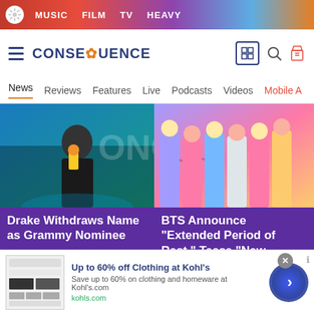MUSIC  FILM  TV  HEAVY
[Figure (screenshot): Consequence of Sound website header with logo, hamburger menu, search and tag icons]
CONSEQUENCE
News  Reviews  Features  Live  Podcasts  Videos  Mobile A
[Figure (photo): Drake in a black jacket holding a Grammy award on stage]
Drake Withdraws Name as Grammy Nominee
December 6, 2021
[Figure (photo): BTS group members in colorful pastel outfits]
BTS Announce "Extended Period of Rest," Tease "New Album"
December 6, 2021
[Figure (screenshot): Kohl's advertisement banner showing up to 60% off clothing]
Up to 60% off Clothing at Kohl's
Save up to 60% on clothing and homeware at Kohl's.com
kohls.com